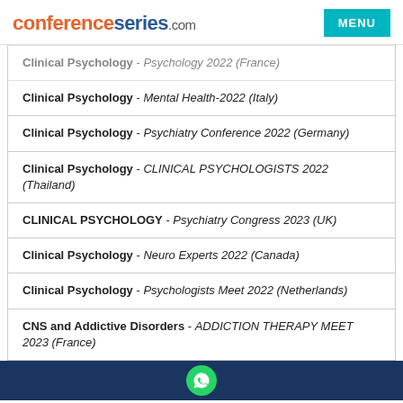conferenceseries.com
Clinical Psychology - Psychology 2022 (France)
Clinical Psychology - Mental Health-2022 (Italy)
Clinical Psychology - Psychiatry Conference 2022 (Germany)
Clinical Psychology - CLINICAL PSYCHOLOGISTS 2022 (Thailand)
CLINICAL PSYCHOLOGY - Psychiatry Congress 2023 (UK)
Clinical Psychology - Neuro Experts 2022 (Canada)
Clinical Psychology - Psychologists Meet 2022 (Netherlands)
CNS and Addictive Disorders - ADDICTION THERAPY MEET 2023 (France)
Cognitive Behavioral Therapy - Psychiatric 2022 (UK)